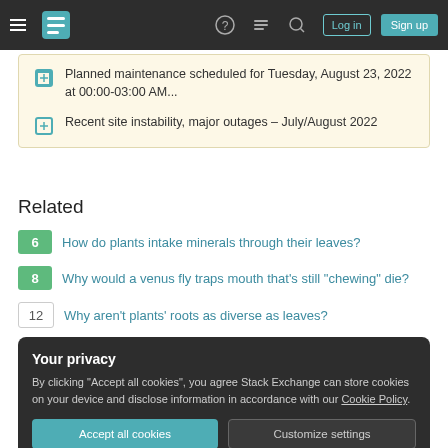Stack Exchange navigation bar with hamburger menu, logo, help, chat, search, Log in, Sign up
Planned maintenance scheduled for Tuesday, August 23, 2022 at 00:00-03:00 AM...
Recent site instability, major outages – July/August 2022
Related
6  How do plants intake minerals through their leaves?
8  Why would a venus fly traps mouth that's still "chewing" die?
12  Why aren't plants' roots as diverse as leaves?
Your privacy
By clicking "Accept all cookies", you agree Stack Exchange can store cookies on your device and disclose information in accordance with our Cookie Policy.
Accept all cookies  Customize settings